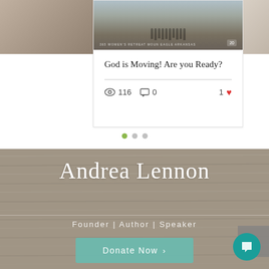[Figure (screenshot): Blog post card with group photo at top. Caption reads '365 WOMEN'S RETREAT MOUN EAGLE ARKANSAS' with a badge showing '20'. Below the image is the post title, a divider, and engagement stats.]
God is Moving! Are you Ready?
116 views · 0 comments · 1 like
[Figure (screenshot): Pagination dots: one green/active dot followed by two gray dots]
[Figure (screenshot): Footer banner with wood-grain texture background. Shows 'Andrea Lennon' in cursive script, 'Founder | Author | Speaker' subtitle, a teal 'Donate Now >' button, a gray scroll-to-top button, and a teal chat bubble button.]
Andrea Lennon
Founder | Author | Speaker
Donate Now >